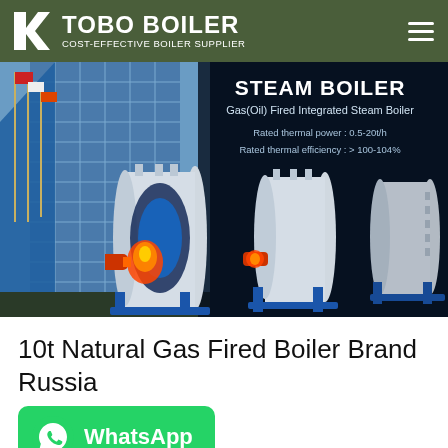TOBO BOILER – COST-EFFECTIVE BOILER SUPPLIER
[Figure (photo): Website banner showing steam boilers on dark background with building on the left. Text overlay reads: STEAM BOILER, Gas(Oil) Fired Integrated Steam Boiler, Rated thermal power: 0.5-20t/h, Rated thermal efficiency: > 100-104%]
10t Natural Gas Fired Boiler Brand Russia
[Figure (logo): WhatsApp button with phone icon and WhatsApp label in green]